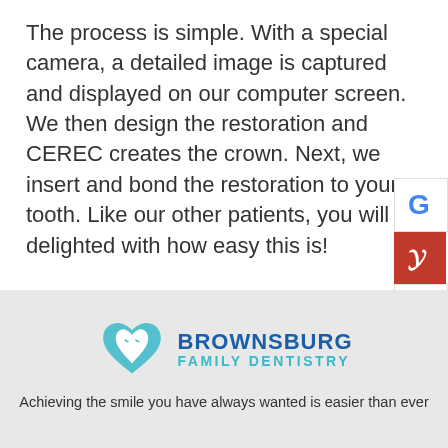The process is simple. With a special camera, a detailed image is captured and displayed on our computer screen. We then design the restoration and CEREC creates the crown. Next, we insert and bond the restoration to your tooth. Like our other patients, you will be delighted with how easy this is!
[Figure (logo): Brownsburg Family Dentistry logo with tooth icon and practice name]
Achieving the smile you have always wanted is easier than ever